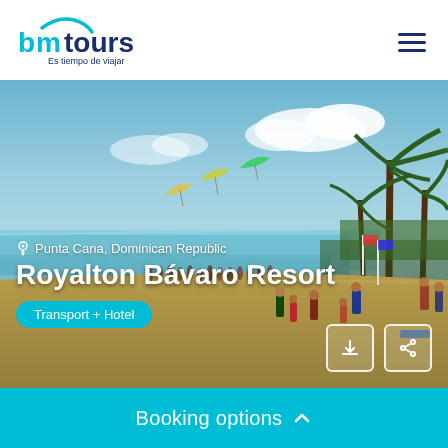[Figure (logo): bm tours logo — 'bm' in cyan/blue with an arc above, 'tours' in dark navy, tagline 'Es tiempo de viajar' below]
[Figure (photo): Beach scene at Punta Cana, Dominican Republic — crowded sandy beach with turquoise sea, palm trees on right, parasailers in sky, blue sky with white clouds]
Punta Cana, Dominican Republic
Royalton Bávaro Resort
Transport + Hotel
Booking options